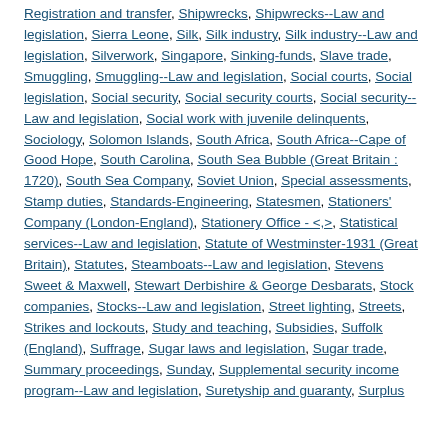Registration and transfer, Shipwrecks, Shipwrecks--Law and legislation, Sierra Leone, Silk, Silk industry, Silk industry--Law and legislation, Silverwork, Singapore, Sinking-funds, Slave trade, Smuggling, Smuggling--Law and legislation, Social courts, Social legislation, Social security, Social security courts, Social security--Law and legislation, Social work with juvenile delinquents, Sociology, Solomon Islands, South Africa, South Africa--Cape of Good Hope, South Carolina, South Sea Bubble (Great Britain : 1720), South Sea Company, Soviet Union, Special assessments, Stamp duties, Standards-Engineering, Statesmen, Stationers' Company (London-England), Stationery Office - <,>, Statistical services--Law and legislation, Statute of Westminster-1931 (Great Britain), Statutes, Steamboats--Law and legislation, Stevens Sweet & Maxwell, Stewart Derbishire & George Desbarats, Stock companies, Stocks--Law and legislation, Street lighting, Streets, Strikes and lockouts, Study and teaching, Subsidies, Suffolk (England), Suffrage, Sugar laws and legislation, Sugar trade, Summary proceedings, Sunday, Supplemental security income program--Law and legislation, Suretyship and guaranty, Surplus